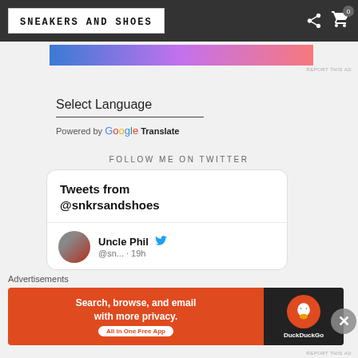SNEAKERS AND SHOES
[Figure (other): Top advertisement banner with gradient from blue to pink]
REPORT THIS AD
Select Language
Powered by Google Translate
FOLLOW ME ON TWITTER
[Figure (screenshot): Twitter widget showing Tweets from @snkrsandshoes. Shows user Uncle Phil @sn... · 19h with Twitter bird icon and profile avatar]
Advertisements
[Figure (other): DuckDuckGo advertisement: Search, browse, and email with more privacy. All in One Free App]
REPORT THIS AD